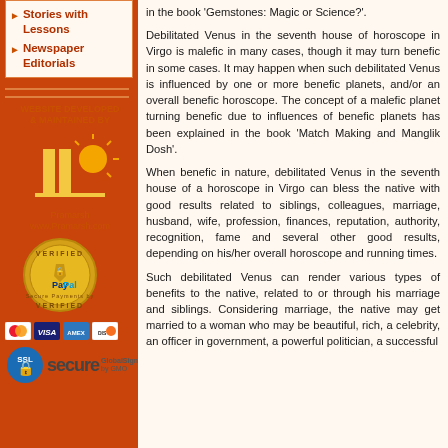Stories with Lessons
Newspaper Editorials
[Figure (logo): Pramarsh website logo with stylized building and sun icon, www.Pramarsh.com]
[Figure (logo): PayPal Verified Secure Payments badge (gold seal)]
[Figure (logo): Credit card logos: Mastercard, VISA, American Express, Discover]
[Figure (logo): SSL Secure GlobalSign by GMO badge]
in the book 'Gemstones: Magic or Science?'.
Debilitated Venus in the seventh house of horoscope in Virgo is malefic in many cases, though it may turn benefic in some cases. It may happen when such debilitated Venus is influenced by one or more benefic planets, and/or an overall benefic horoscope. The concept of a malefic planet turning benefic due to influences of benefic planets has been explained in the book 'Match Making and Manglik Dosh'.
When benefic in nature, debilitated Venus in the seventh house of a horoscope in Virgo can bless the native with good results related to siblings, colleagues, marriage, husband, wife, profession, finances, reputation, authority, recognition, fame and several other good results, depending on his/her overall horoscope and running times.
Such debilitated Venus can render various types of benefits to the native, related to or through his marriage and siblings. Considering marriage, the native may get married to a woman who may be beautiful, rich, a celebrity, an officer in government, a powerful politician, a successful